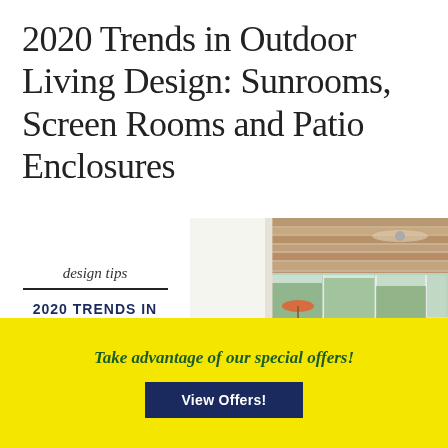2020 Trends in Outdoor Living Design: Sunrooms, Screen Rooms and Patio Enclosures
design tips
2020 TRENDS IN OUTDOOR LIVING DESIGN
carolinahomeexteriors.com
[Figure (photo): Interior photo of a sunroom with wood plank ceiling, ceiling fan, large windows overlooking trees, and furnished seating area with orange/coral cushions and a bar-height dining area.]
Take advantage of our special offers!
View Offers!